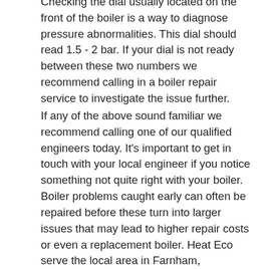Checking the dial usually located on the front of the boiler is a way to diagnose pressure abnormalities. This dial should read 1.5 - 2 bar. If your dial is not ready between these two numbers we recommend calling in a boiler repair service to investigate the issue further.
If any of the above sound familiar we recommend calling one of our qualified engineers today. It's important to get in touch with your local engineer if you notice something not quite right with your boiler. Boiler problems caught early can often be repaired before these turn into larger issues that may lead to higher repair costs or even a replacement boiler. Heat Eco serve the local area in Farnham, Farnborough and Guildford.